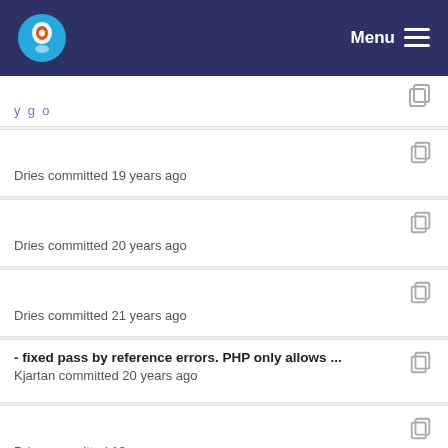Menu
Dries committed 19 years ago
Dries committed 20 years ago
Dries committed 21 years ago
- fixed pass by reference errors. PHP only allows ...
Kjartan committed 20 years ago
Dries committed 19 years ago
Dries committed 21 years ago